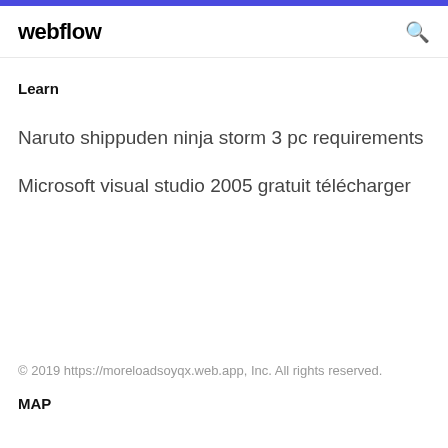webflow
Learn
Naruto shippuden ninja storm 3 pc requirements
Microsoft visual studio 2005 gratuit télécharger
© 2019 https://moreloadsoyqx.web.app, Inc. All rights reserved.
MAP